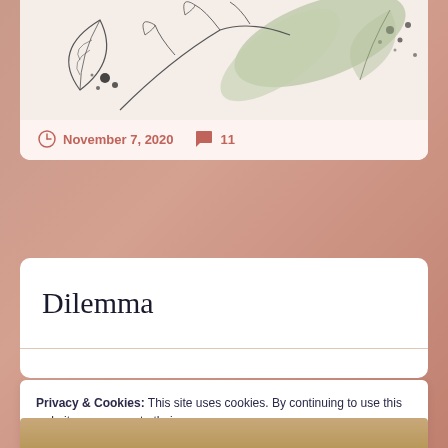[Figure (illustration): Decorative botanical illustration with leaves, branches, and ink splatter on a light pink/cream background, used as a card header image]
November 7, 2020   11
Dilemma
Privacy & Cookies: This site uses cookies. By continuing to use this website, you agree to their use.
To find out more, including how to control cookies, see here: Cookie Policy
Close and accept